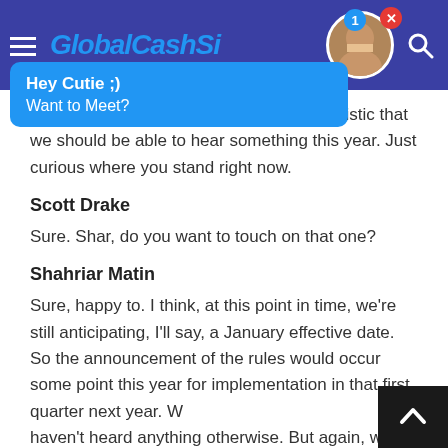GlobalCashSi[te] — navigation header with hamburger menu, notification badge, avatar, and search icon
[Figure (screenshot): Blue popup overlay reading 'Hey Cutie ;) Want to Meet?' overlaid on the page header]
the OMB process? I recall you were optimistic that we should be able to hear something this year. Just curious where you stand right now.
Scott Drake
Sure. Shar, do you want to touch on that one?
Shahriar Matin
Sure, happy to. I think, at this point in time, we're still anticipating, I'll say, a January effective date. So the announcement of the rules would occur some point this year for implementation in that first quarter next year. We haven't heard anything otherwise. But again, we do know that the OMB is backed up with pandemic and other priorities. So the that the best thinking and so matter of